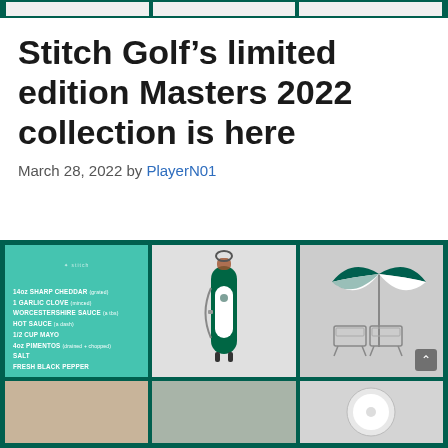[top navigation strip with teal border]
Stitch Golf’s limited edition Masters 2022 collection is here
March 28, 2022 by PlayerN01
[Figure (photo): 3x2 grid of Masters 2022 Stitch Golf product photos: recipe card on teal background, green/white golf stand bag, beach umbrella with chairs t-shirt design, and partial bottom row images of additional products]